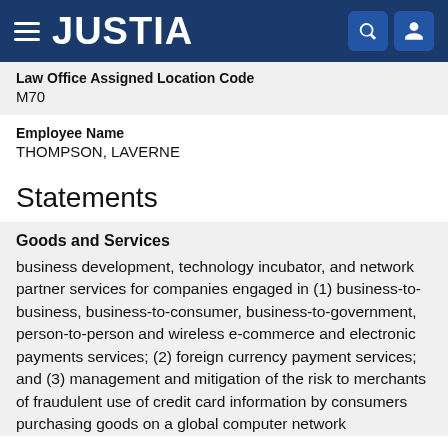JUSTIA
Law Office Assigned Location Code
M70
Employee Name
THOMPSON, LAVERNE
Statements
Goods and Services
business development, technology incubator, and network partner services for companies engaged in (1) business-to-business, business-to-consumer, business-to-government, person-to-person and wireless e-commerce and electronic payments services; (2) foreign currency payment services; and (3) management and mitigation of the risk to merchants of fraudulent use of credit card information by consumers purchasing goods on a global computer network